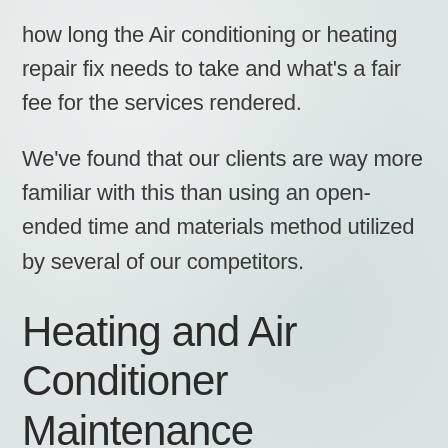how long the Air conditioning or heating repair fix needs to take and what's a fair fee for the services rendered.
We've found that our clients are way more familiar with this than using an open-ended time and materials method utilized by several of our competitors.
Heating and Air Conditioner Maintenance Agreements
Residential Maintenance Agreements are